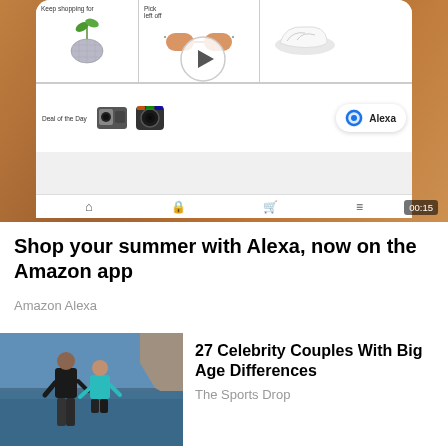[Figure (screenshot): Amazon app screenshot shown on a phone held by a hand, showing shopping recommendations with 'Keep shopping for', 'Pick left off', Deal of the Day items with camera products, Alexa badge, and a play button overlay. Timer shows 00:15.]
Shop your summer with Alexa, now on the Amazon app
Amazon Alexa
[Figure (photo): Photo of a couple walking on a beach — a man in a black t-shirt and dark pants, and a woman in a teal top and black shorts.]
27 Celebrity Couples With Big Age Differences
The Sports Drop